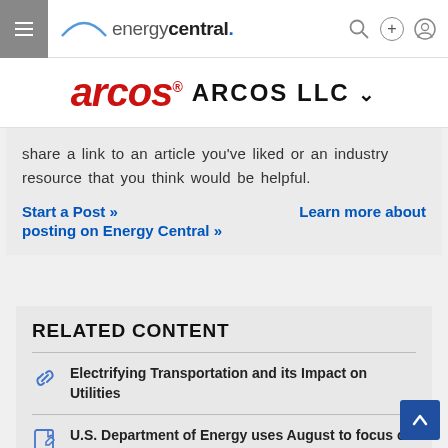energycentral.
arcos ARCOS LLC
share a link to an article you've liked or an industry resource that you think would be helpful.
Start a Post »    Learn more about posting on Energy Central »
RELATED CONTENT
Electrifying Transportation and its Impact on Utilities
U.S. Department of Energy uses August to focus on cybersecurity.